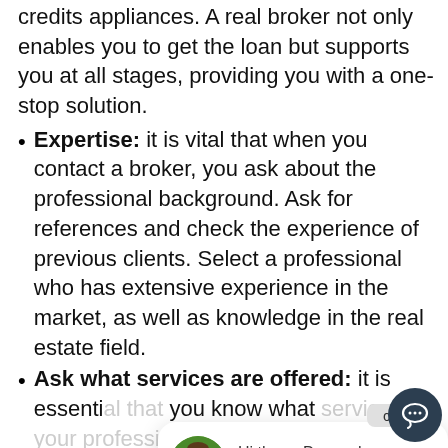credits appliances. A real broker not only enables you to get the loan but supports you at all stages, providing you with a one-stop solution.
Expertise: it is vital that when you contact a broker, you ask about the professional background. Ask for references and check the experience of previous clients. Select a professional who has extensive experience in the market, as well as knowledge in the real estate field.
Ask what services are offered: it is essential that you know what services your professional from the professional offers; it is recommended to avoid brokers who charge you for the service burden.
Test the level of attention: you need someone to give you impeccable and personalized attention. You should notice their interest in supporting you since the
[Figure (screenshot): Chat popup overlay with close button, avatar photo of a man with beard, and text 'Hi there, Do you have a question? Here to help.' with a dark chat icon button in the bottom right corner.]